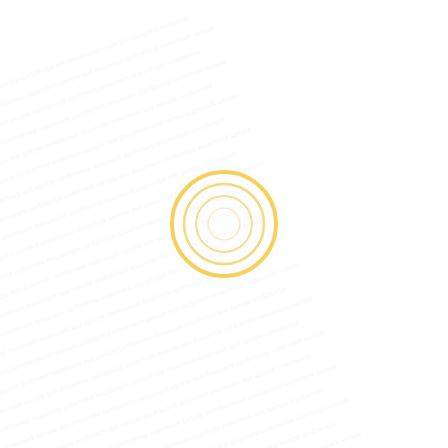[Figure (other): A mostly white page with very faint light gray watermark text arranged in diagonal rows across the entire page background, and a centered concentric circle graphic in golden/amber color (two rings, one inside the other) in the middle of the page.]